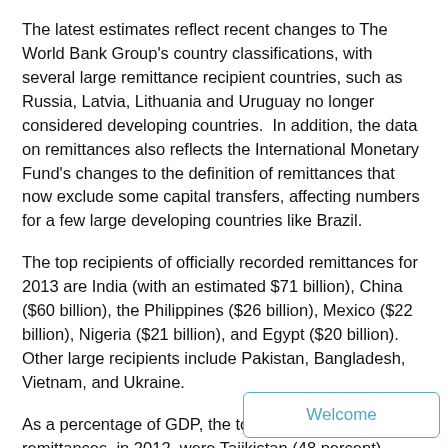The latest estimates reflect recent changes to The World Bank Group's country classifications, with several large remittance recipient countries, such as Russia, Latvia, Lithuania and Uruguay no longer considered developing countries.  In addition, the data on remittances also reflects the International Monetary Fund's changes to the definition of remittances that now exclude some capital transfers, affecting numbers for a few large developing countries like Brazil.
The top recipients of officially recorded remittances for 2013 are India (with an estimated $71 billion), China ($60 billion), the Philippines ($26 billion), Mexico ($22 billion), Nigeria ($21 billion), and Egypt ($20 billion). Other large recipients include Pakistan, Bangladesh, Vietnam, and Ukraine.
As a percentage of GDP, the top recipients of remittances, in 2012, were Tajikistan (48 percent), Kyrgyz Republic (31